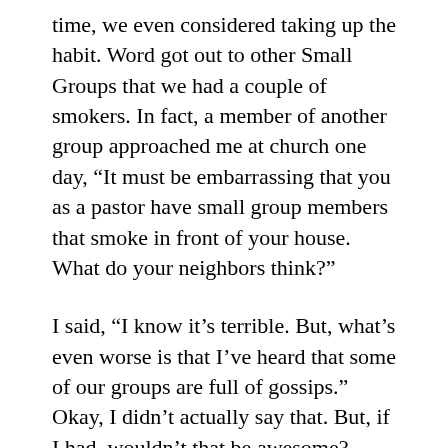time, we even considered taking up the habit. Word got out to other Small Groups that we had a couple of smokers. In fact, a member of another group approached me at church one day, “It must be embarrassing that you as a pastor have small group members that smoke in front of your house. What do your neighbors think?”
I said, “I know it’s terrible. But, what’s even worse is that I’ve heard that some of our groups are full of gossips.” Okay, I didn’t actually say that. But, if I had, wouldn’t that be awesome?
We have to accept people where they’re at. Think about it. Where else are we going to accept them? I suppose we could put some prerequisites